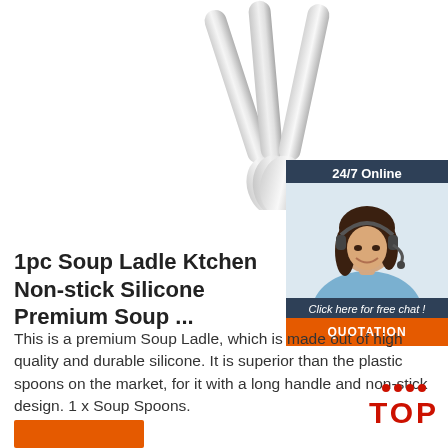[Figure (photo): Stainless steel spoons/ladles fanned out, photo at top of page]
[Figure (infographic): Customer service chat widget with '24/7 Online' header, photo of woman with headset, 'Click here for free chat!' text, and orange QUOTATION button]
1pc Soup Ladle Ktchen Non-stick Silicone Premium Soup ...
This is a premium Soup Ladle, which is made out of high quality and durable silicone. It is superior than the plastic spoons on the market, for it with a long handle and non-stick design. 1 x Soup Spoons.
[Figure (other): Orange button (partially visible) at bottom left]
[Figure (logo): TOP badge with red dots and red TOP text, bottom right corner]